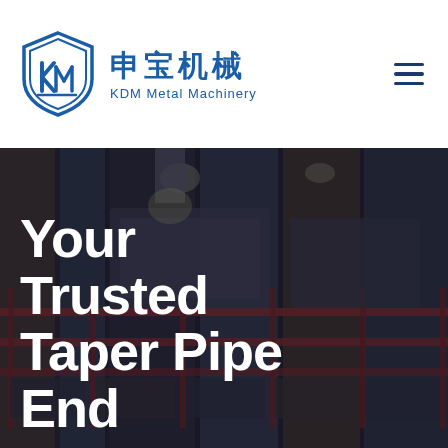[Figure (logo): KDM Metal Machinery shield logo in blue with stylized M shape inside]
申宝机械
KDM Metal Machinery
[Figure (other): Hamburger menu icon (three horizontal lines)]
[Figure (photo): Blurred factory/manufacturing floor background with industrial machinery, red racks, and equipment visible]
Your Trusted Taper Pipe End